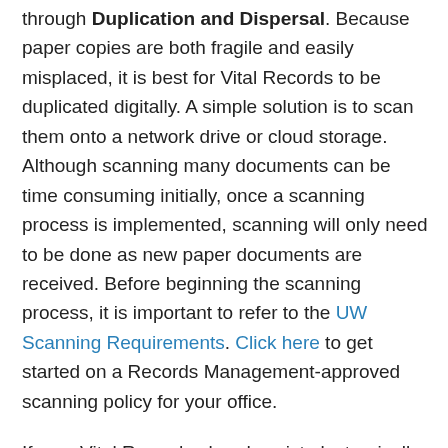through Duplication and Dispersal. Because paper copies are both fragile and easily misplaced, it is best for Vital Records to be duplicated digitally. A simple solution is to scan them onto a network drive or cloud storage. Although scanning many documents can be time consuming initially, once a scanning process is implemented, scanning will only need to be done as new paper documents are received. Before beginning the scanning process, it is important to refer to the UW Scanning Requirements. Click here to get started on a Records Management-approved scanning policy for your office.
If your Vital Records already exist electronically, Duplication and Dispersal mean that the